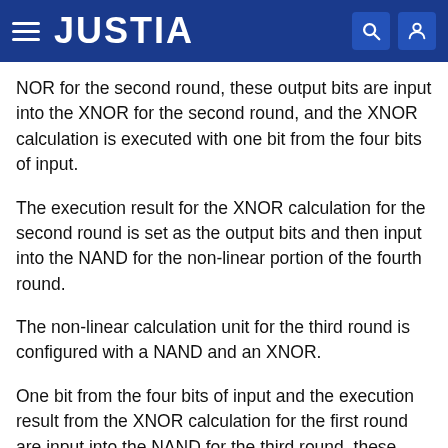JUSTIA
NOR for the second round, these output bits are input into the XNOR for the second round, and the XNOR calculation is executed with one bit from the four bits of input.
The execution result for the XNOR calculation for the second round is set as the output bits and then input into the NAND for the non-linear portion of the fourth round.
The non-linear calculation unit for the third round is configured with a NAND and an XNOR.
One bit from the four bits of input and the execution result from the XNOR calculation for the first round are input into the NAND for the third round, these output bits are input into the XNOR for the third round, and the XNOR calculation is executed with one bit from the four